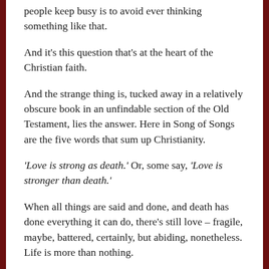people keep busy is to avoid ever thinking something like that.
And it's this question that's at the heart of the Christian faith.
And the strange thing is, tucked away in a relatively obscure book in an unfindable section of the Old Testament, lies the answer. Here in Song of Songs are the five words that sum up Christianity.
'Love is strong as death.' Or, some say, 'Love is stronger than death.'
When all things are said and done, and death has done everything it can do, there's still love – fragile, maybe, battered, certainly, but abiding, nonetheless. Life is more than nothing.